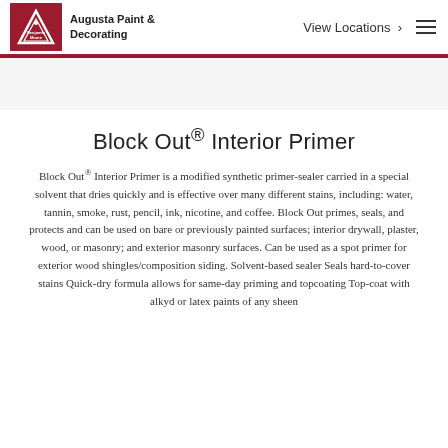Augusta Paint & Decorating | View Locations
Block Out® Interior Primer
Block Out® Interior Primer is a modified synthetic primer-sealer carried in a special solvent that dries quickly and is effective over many different stains, including: water, tannin, smoke, rust, pencil, ink, nicotine, and coffee. Block Out primes, seals, and protects and can be used on bare or previously painted surfaces; interior drywall, plaster, wood, or masonry; and exterior masonry surfaces. Can be used as a spot primer for exterior wood shingles/composition siding. Solvent-based sealer Seals hard-to-cover stains Quick-dry formula allows for same-day priming and topcoating Top-coat with alkyd or latex paints of any sheen